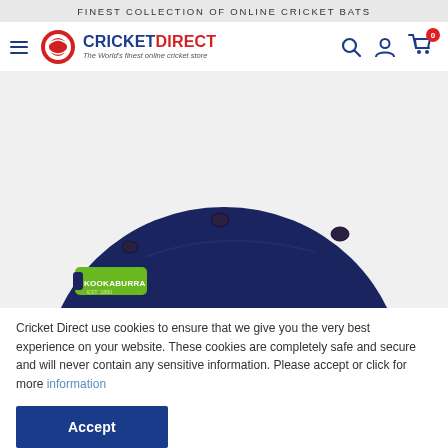FINEST COLLECTION OF ONLINE CRICKET BATS
[Figure (logo): Cricket Direct logo with cricket ball icon and tagline: The World's finest online cricket store]
[Figure (photo): Navy blue cricket helmet top view with ventilation holes and Kookaburra brand tag visible on the left side]
Cricket Direct use cookies to ensure that we give you the very best experience on your website. These cookies are completely safe and secure and will never contain any sensitive information. Please accept or click for more information
Accept